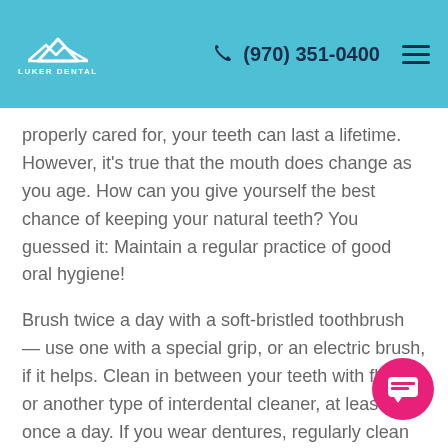LUKER DENTAL | (970) 351-0400
properly cared for, your teeth can last a lifetime. However, it’s true that the mouth does change as you age. How can you give yourself the best chance of keeping your natural teeth? You guessed it: Maintain a regular practice of good oral hygiene!
Brush twice a day with a soft-bristled toothbrush — use one with a special grip, or an electric brush, if it helps. Clean in between your teeth with floss, or another type of interdental cleaner, at least once a day. If you wear dentures, regularly clean and care for them as instructed. Eat healthy foods and drink plenty of water. And don’t forget to have regular dental exams so that little problems don’t turn into major headaches!